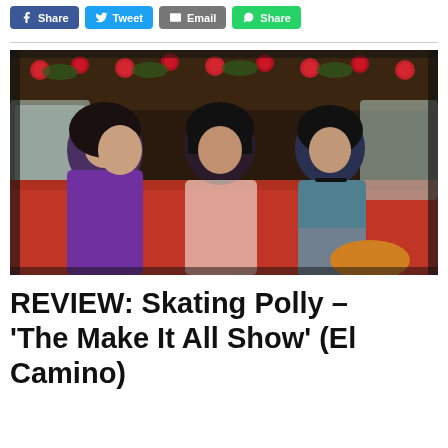[Figure (other): Social share buttons: Facebook Share, Twitter Tweet, Email, WhatsApp Share]
[Figure (photo): Photo of three people (band members of Skating Polly) sitting inside a vintage car decorated with red roses along the ceiling. Left person wears purple long-sleeve shirt with head rested on hand. Center person has dark hair with bangs in a sheer dress. Right person has short dark hair with choker necklace in teal top and jeans.]
REVIEW: Skating Polly – 'The Make It All Show' (El Camino)